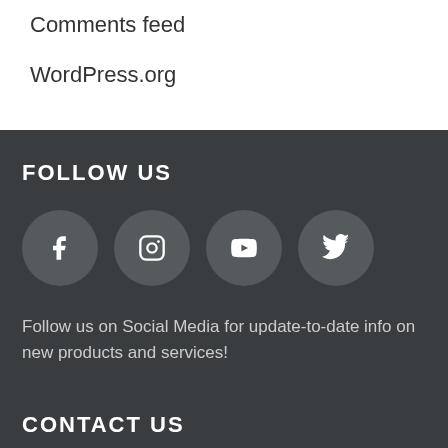Comments feed
WordPress.org
FOLLOW US
[Figure (infographic): Four social media icon circles: Facebook, Instagram, YouTube, Twitter]
Follow us on Social Media for update-to-date info on new products and services!
CONTACT US